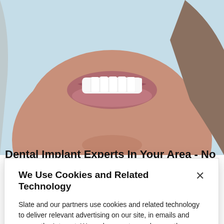[Figure (photo): Close-up photo of a woman smiling showing white teeth, light blue background, visible lower face, lips and neck area.]
Dental Implant Experts In Your Area - No
We Use Cookies and Related Technology
Slate and our partners use cookies and related technology to deliver relevant advertising on our site, in emails and across the Internet. We and our partners also use these technologies to personalize content and perform site analytics. For more information, see our terms and privacy policy.  Privacy Policy
OK